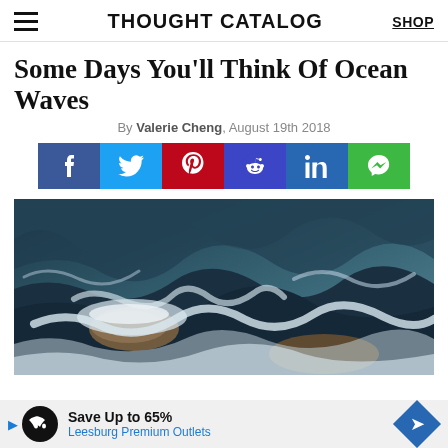THOUGHT CATALOG | SHOP
Some Days You'll Think Of Ocean Waves
By Valerie Cheng, August 19th 2018
[Figure (infographic): Social media share buttons: Facebook, Twitter, Pinterest, Reddit, LinkedIn, Messenger]
[Figure (photo): Ocean waves photo showing turbulent dark blue water with white foam and hints of brown rocks]
Save Up to 65% Leesburg Premium Outlets